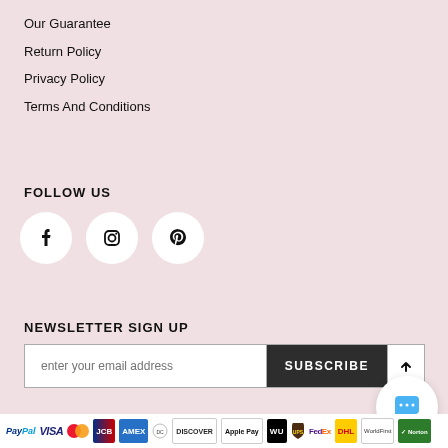Our Guarantee
Return Policy
Privacy Policy
Terms And Conditions
FOLLOW US
[Figure (illustration): Three social media icons: Facebook, Instagram, and Pinterest, each in a white circle on a pink background.]
NEWSLETTER SIGN UP
[Figure (screenshot): Email newsletter signup form with input field reading 'enter your email address', a SUBSCRIBE button, and an up-arrow button.]
Copyright © 2022 Blackfridayprom.co.uk All Rights Reserved
[Figure (logo): Payment method logos strip: PayPal, VISA, Mastercard, JCB, Amex, Diners, Discover, Apple Pay, Western Union, UPS, FedEx, DHL, World First, Norton Secured.]